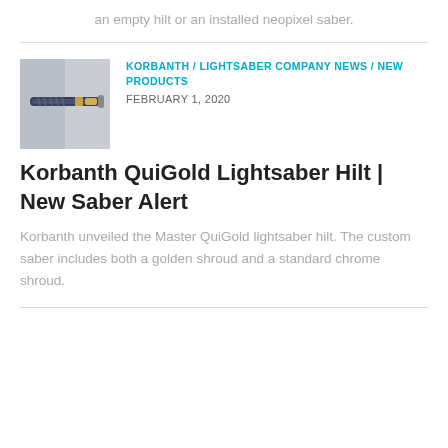an empty hilt or an installed neopixel saber.
[Figure (photo): Thumbnail photo of a lightsaber hilt with gold and dark blue accents against a light background]
KORBANTH / LIGHTSABER COMPANY NEWS / NEW PRODUCTS
FEBRUARY 1, 2020
Korbanth QuiGold Lightsaber Hilt | New Saber Alert
Korbanth unveiled the Master QuiGold lightsaber hilt. The custom saber includes both a golden shroud and a standard chrome shroud.